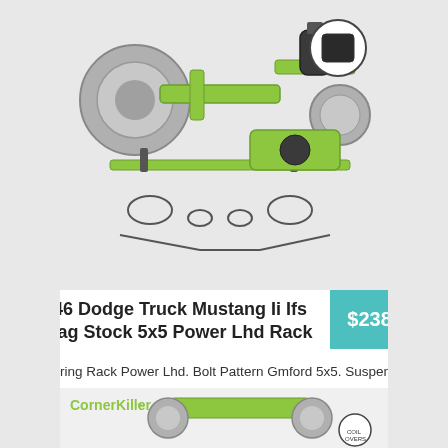[Figure (photo): Car front suspension kit with airbag components, green powder-coated parts, shown from multiple angles with detailed parts laid out]
39-46 Dodge Truck Mustang Ii Ifs Airbag Stock 5x5 Power Lhd Rack
$2382.62
Steering Rack Power Lhd. Bolt Pattern Gmford 5x5. Suspension Airbag. Platform Mustang Ii. We House The Most Comprehensive Collection Of Parts And Accessories In The World. You Wont Regret It!
[Figure (photo): CornerKiller branded car front suspension assembly with bright green/yellow powder-coated components including coilover visible]